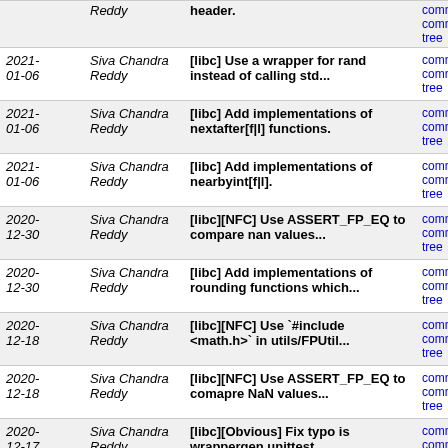| Date | Author | Message | Links |
| --- | --- | --- | --- |
|  | Reddy | header. | commit | commitdiff | tree |
| 2021-01-06 | Siva Chandra Reddy | [libc] Use a wrapper for rand instead of calling std... | commit | commitdiff | tree |
| 2021-01-06 | Siva Chandra Reddy | [libc] Add implementations of nextafter[f|l] functions. | commit | commitdiff | tree |
| 2021-01-06 | Siva Chandra Reddy | [libc] Add implementations of nearbyint[f|l]. | commit | commitdiff | tree |
| 2020-12-30 | Siva Chandra Reddy | [libc][NFC] Use ASSERT_FP_EQ to compare nan values... | commit | commitdiff | tree |
| 2020-12-30 | Siva Chandra Reddy | [libc] Add implementations of rounding functions which... | commit | commitdiff | tree |
| 2020-12-18 | Siva Chandra Reddy | [libc][NFC] Use `#include <math.h>` in utils/FPUtil... | commit | commitdiff | tree |
| 2020-12-18 | Siva Chandra Reddy | [libc][NFC] Use ASSERT_FP_EQ to comapre NaN values... | commit | commitdiff | tree |
| 2020-12-17 | Siva Chandra Reddy | [libc][Obvious] Fix typo is wrappergen unittest. | commit | commitdiff | tree |
| 2020-12-17 | Siva Chandra Reddy | [libc] Refactor WrapperGen to make the flow cleaner. | commit | commitdiff | tree |